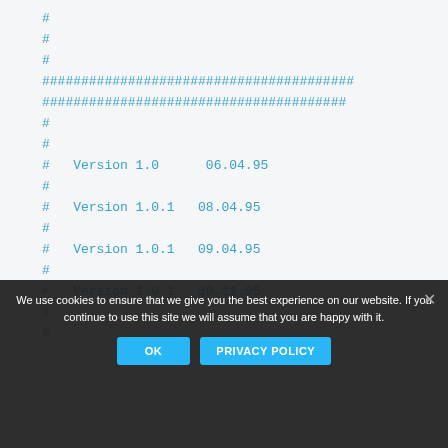#
#
#
########################################
#######################################
#
#
#   Version 1.0      06.04.95
#
#   Version 1.0.1   08.04.95
#
#   Version 1.0.1   09.04.95 (partial)
#
#   Version 1.0.1   30.11.95
#
#
We use cookies to ensure that we give you the best experience on our website. If you continue to use this site we will assume that you are happy with it.
OK
PRIVACY POLICY